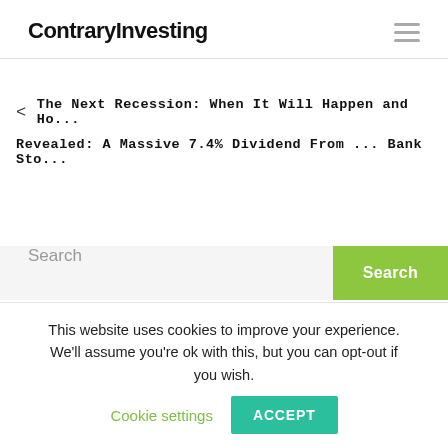ContraryInvesting
< The Next Recession: When It Will Happen and Ho...
Revealed: A Massive 7.4% Dividend From ... Bank Sto...
Search
This website uses cookies to improve your experience. We'll assume you're ok with this, but you can opt-out if you wish. Cookie settings ACCEPT